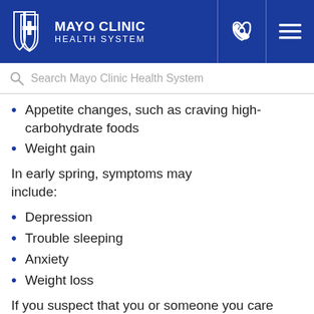MAYO CLINIC HEALTH SYSTEM
Search Mayo Clinic Health System
Appetite changes, such as craving high-carbohydrate foods
Weight gain
In early spring, symptoms may include:
Depression
Trouble sleeping
Anxiety
Weight loss
If you suspect that you or someone you care about may be struggling with SAD, seeking help from a